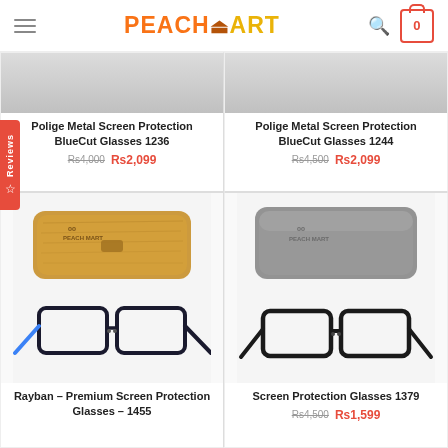PEACH MART
[Figure (screenshot): Reviews tab on left side, red vertical tab]
[Figure (photo): Polige Metal Screen Protection BlueCut Glasses 1236 - partial product image]
Polige Metal Screen Protection BlueCut Glasses 1236
Rs4,000 Rs2,099
[Figure (photo): Polige Metal Screen Protection BlueCut Glasses 1244 - partial product image]
Polige Metal Screen Protection BlueCut Glasses 1244
Rs4,500 Rs2,099
[Figure (photo): Rayban Premium Screen Protection Glasses 1455 - wooden case and black glasses with blue temples]
Rayban – Premium Screen Protection Glasses – 1455
[Figure (photo): Screen Protection Glasses 1379 - gray case and black glasses]
Screen Protection Glasses 1379
Rs4,500 Rs1,599